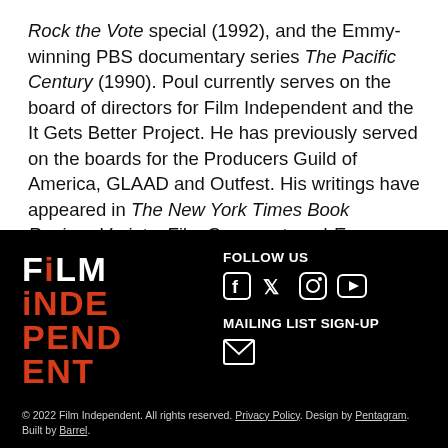Rock the Vote special (1992), and the Emmy-winning PBS documentary series The Pacific Century (1990). Poul currently serves on the board of directors for Film Independent and the It Gets Better Project. He has previously served on the boards for the Producers Guild of America, GLAAD and Outfest. His writings have appeared in The New York Times Book Review, Variety, Film Comment, and Egg Magazine.
[Figure (logo): Film Independent logo in white and orange on black background]
FOLLOW US
[Figure (illustration): Social media icons: Facebook, Twitter, Instagram, YouTube]
MAILING LIST SIGN-UP
[Figure (illustration): Email envelope icon]
© 2022 Film Independent. All rights reserved. Privacy Policy. Design by Pentagram. Built by Barrel.